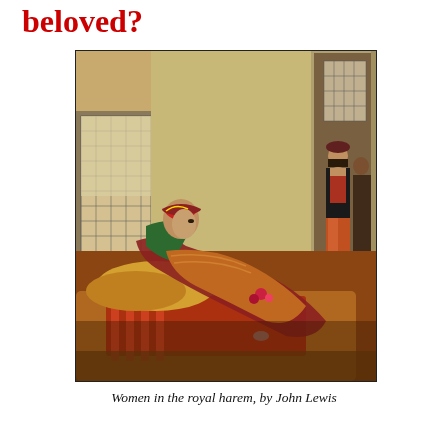beloved?
[Figure (illustration): Painting of women in a royal harem interior. A richly dressed woman reclines on ornate cushions and carpets in the foreground, wearing a green jacket and colorful headscarf. In the background through an arched doorway, another woman in red and black stands. The room has latticed windows and warm earthy tones.]
Women in the royal harem, by John Lewis